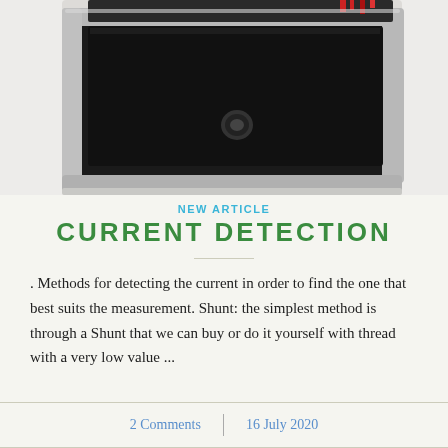[Figure (photo): Close-up photo of a black analog current meter/ammeter device with metallic chrome edges on a light background, showing the lower portion of the instrument.]
NEW ARTICLE
CURRENT DETECTION
. Methods for detecting the current in order to find the one that best suits the measurement. Shunt: the simplest method is through a Shunt that we can buy or do it yourself with thread with a very low value ...
2 Comments | 16 July 2020